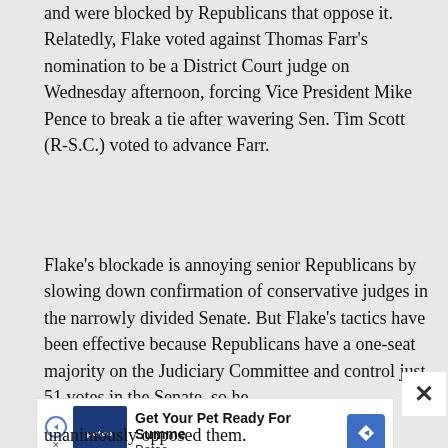and were blocked by Republicans that oppose it. Relatedly, Flake voted against Thomas Farr's nomination to be a District Court judge on Wednesday afternoon, forcing Vice President Mike Pence to break a tie after wavering Sen. Tim Scott (R-S.C.) voted to advance Farr.
Flake's blockade is annoying senior Republicans by slowing down confirmation of conservative judges in the narrowly divided Senate. But Flake's tactics have been effective because Republicans have a one-seat majority on the Judiciary Committee and control just 51 votes in the Senate, so he
[Figure (infographic): Advertisement banner for Petco: 'Get Your Pet Ready For Summe' with Petco logo and blue diamond arrow icon, along with a skip/close button marked with X]
unanimously opposed them.